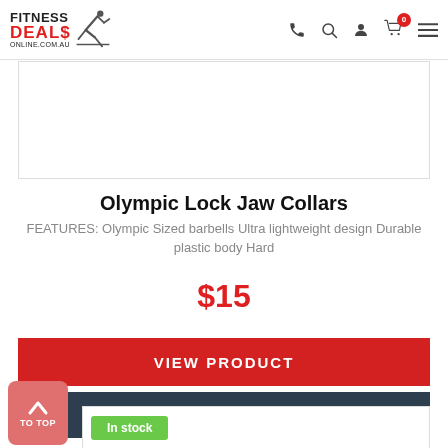Fitness Deals Online
[Figure (other): Product image placeholder - white rectangle with border]
Olympic Lock Jaw Collars
FEATURES: Olympic Sized barbells Ultra lightweight design Durable plastic body Hard
$15
VIEW PRODUCT
ADD TO COMPARISON
TO TOP
In stock